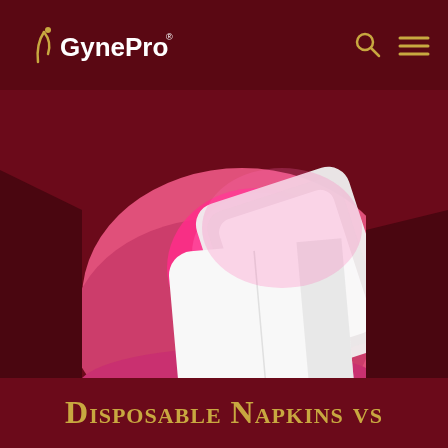GynePro
[Figure (photo): Close-up photo of white disposable sanitary napkins/pads resting on a bright pink/magenta rounded surface against a dark red background]
Disposable Napkins vs